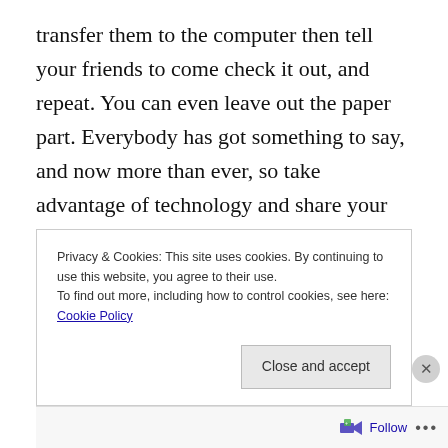transfer them to the computer then tell your friends to come check it out, and repeat. You can even leave out the paper part. Everybody has got something to say, and now more than ever, so take advantage of technology and share your thoughts with the world.
[Figure (other): Broken image placeholder with small icon in top-left corner, outlined by a thin border]
Privacy & Cookies: This site uses cookies. By continuing to use this website, you agree to their use.
To find out more, including how to control cookies, see here: Cookie Policy
Close and accept
Follow ...